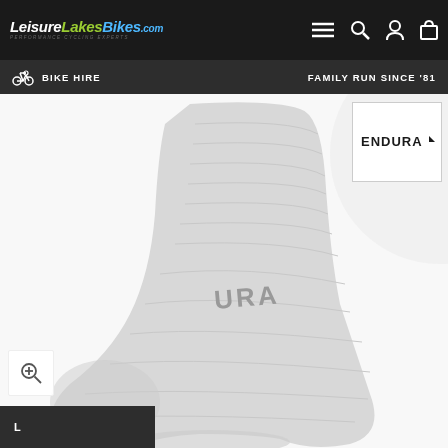[Figure (logo): LeisureLakesBikes.com logo in white, green and blue italic bold text on dark background]
[Figure (infographic): Navigation bar with hamburger menu, search icon, account icon, and shopping bag icon on dark background]
BIKE HIRE
FAMILY RUN SINCE '81
[Figure (photo): White Endura cycling sock shown on foot, with 'URA' visible on the sock, photographed against white background]
[Figure (logo): Endura brand logo in black text on white background inside a bordered box]